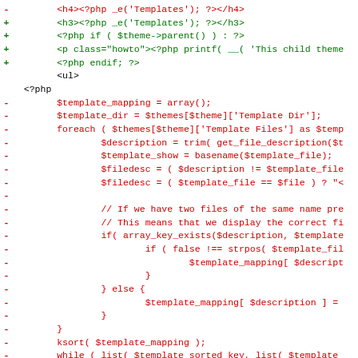[Figure (screenshot): A code diff showing PHP/HTML template code. Lines marked with '-' in red are removed lines, lines marked with '+' in green are added lines. The code shows changes to a WordPress theme editor template file involving template mapping, sorting, and display logic.]